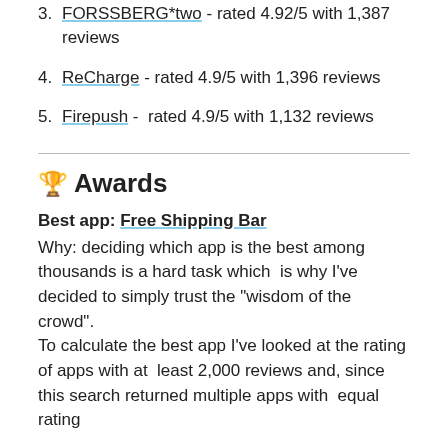3. FORSSBERG*two - rated 4.92/5 with 1,387 reviews
4. ReCharge - rated 4.9/5 with 1,396 reviews
5. Firepush - rated 4.9/5 with 1,132 reviews
🏆 Awards
Best app: Free Shipping Bar
Why: deciding which app is the best among thousands is a hard task which is why I've decided to simply trust the "wisdom of the crowd".
To calculate the best app I've looked at the rating of apps with at least 2,000 reviews and, since this search returned multiple apps with equal rating